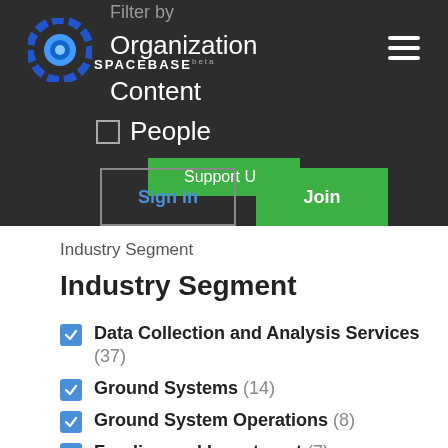Filter by
[Figure (logo): Spacebase logo with circular gear icon and SPACEBASE beta text]
Organization
Content
People
Support Us
Sign In
Join
Industry Segment
Industry Segment
Data Collection and Analysis Services (37)
Ground Systems (14)
Ground System Operations (8)
Funding and Investment (7)